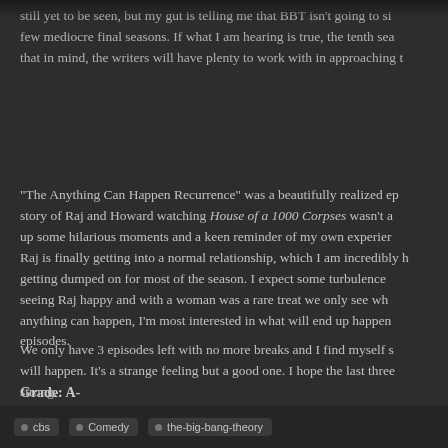still yet to be seen, but my gut is telling me that BBT isn't going to simply go out like a few mediocre final seasons. If what I am hearing is true, the tenth sea that in mind, the writers will have plenty to work with in approaching t
"The Anything Can Happen Recurrence" was a beautifully realized ep story of Raj and Howard watching House of a 1000 Corpses wasn't a up some hilarious moments and a keen reminder of my own experien Raj is finally getting into a normal relationship, which I am incredibly h getting dumped on for most of the season. I expect some turbulence seeing Raj happy and with a woman was a rare treat we only see wh anything can happen, I'm most interested in what will end up happen episodes.
We only have 3 episodes left with no more breaks and I find myself s will happen. It's a strange feeling but a good one. I hope the last three strong.
Grade: A-
cbs  Comedy  the-big-bang-theory